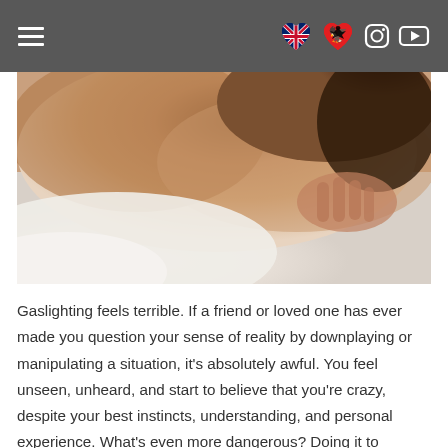[Navigation bar with hamburger menu, UK flag icon, Albanian flag heart icon, Instagram icon, YouTube icon]
[Figure (photo): Close-up photo of a person lying down, showing skin tones and hair, with white fabric visible]
Gaslighting feels terrible. If a friend or loved one has ever made you question your sense of reality by downplaying or manipulating a situation, it's absolutely awful. You feel unseen, unheard, and start to believe that you're crazy, despite your best instincts, understanding, and personal experience. What's even more dangerous? Doing it to yourself. Leaning into your feelings and emotions isn't easy, but being honest with yourself is a crucial start to understanding boundaries, self-love, and setting yourself up for growth. Taking...